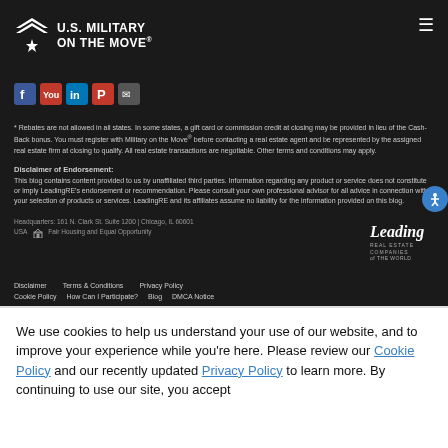[Figure (logo): U.S. Military On The Move logo with white chevron/star icon and social media icons below, hamburger menu top right, dark background]
* Rebates are not allowed in all states. In some states, a gift card or commission credit at closing may be provided in lieu of the Cash-Back bonus. You must register with Military on the Move® before contacting a real estate agent and be represented by the assigned real estate firm at closing to qualify. All real estate transactions are negotiable. Other terms and conditions may apply.
Disclaimer of Endorsement:
This blog contains content provided to us by unaffiliated third parties. Information regarding any product or service does not constitute or imply LeadingRE's endorsement or recommendation. Please consult your own professional advisor for all advice in connection with your selection of products or services. LeadingRE and its affiliates assume no liability for the information provided on this blog.
Headquarters: 161 N. Clark St. Suite 1200 | Chicago, IL 60601 USA  Fair Housing and Equal Opportunity
[Figure (logo): Leading Real Estate Companies of the World logo in cursive script]
Disclaimer   Terms & Conditions   Privacy Policy
Cookie Policy   How Can I Participate?   Blog   DMCA Notice
We use cookies to help us understand your use of our website, and to improve your experience while you're here. Please review our Cookie Policy and our recently updated Privacy Policy to learn more. By continuing to use our site, you accept